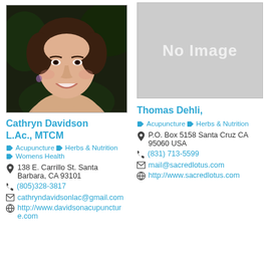[Figure (photo): Profile photo of Cathryn Davidson, a woman smiling, dark background with foliage]
Cathryn Davidson L.Ac., MTCM
Acupuncture  Herbs & Nutrition  Womens Health
138 E. Carrillo St. Santa Barbara, CA 93101
(805)328-3817
cathryndavidsonlac@gmail.com
http://www.davidsonacupuncture.com
[Figure (other): No Image placeholder box, gray background with white text 'No Image']
Thomas Dehli,
Acupuncture  Herbs & Nutrition
P.O. Box 5158 Santa Cruz CA 95060 USA
(831) 713-5599
mail@sacredlotus.com
http://www.sacredlotus.com